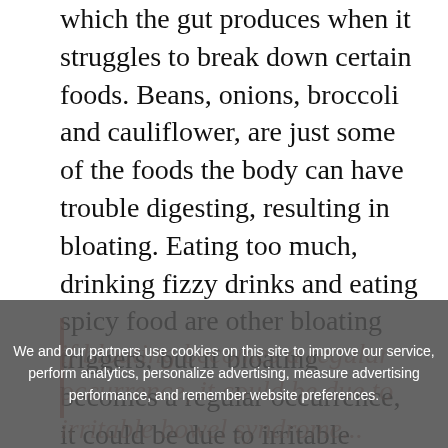which the gut produces when it struggles to break down certain foods. Beans, onions, broccoli and cauliflower, are just some of the foods the body can have trouble digesting, resulting in bloating. Eating too much, drinking fizzy drinks and eating spicy food are other bloating triggers, but if bloating becomes a regular occurrence, it could be due to irritable bowel syndrome (IBS). IBS is one of the most prevalent gastrointestinal disorders, thought to affect up to 20 per cent of the population.
We and our partners use cookies on this site to improve our service, perform analytics, personalize advertising, measure advertising performance, and remember website preferences.